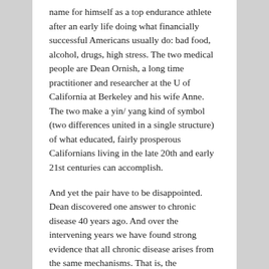name for himself as a top endurance athlete after an early life doing what financially successful Americans usually do: bad food, alcohol, drugs, high stress. The two medical people are Dean Ornish, a long time practitioner and researcher at the U of California at Berkeley and his wife Anne. The two make a yin/ yang kind of symbol (two differences united in a single structure) of what educated, fairly prosperous Californians living in the late 20th and early 21st centuries can accomplish.
And yet the pair have to be disappointed. Dean discovered one answer to chronic disease 40 years ago. And over the intervening years we have found strong evidence that all chronic disease arises from the same mechanisms. That is, the mechanisms which prevent and reverse heart disease also prevent and reverse diabetes, dementia, and obesity too.